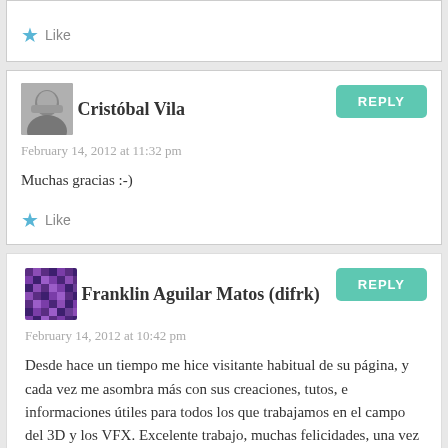Like
Cristóbal Vila
February 14, 2012 at 11:32 pm
Muchas gracias :-)
Like
Franklin Aguilar Matos (difrk)
February 14, 2012 at 10:42 pm
Desde hace un tiempo me hice visitante habitual de su página, y cada vez me asombra más con sus creaciones, tutos, e informaciones útiles para todos los que trabajamos en el campo del 3D y los VFX. Excelente trabajo, muchas felicidades, una vez más da usted muestra de todo lo que se puede lograr en el campo del CGI, más allá de cualquier explicación del uso de herramientas determinadas para